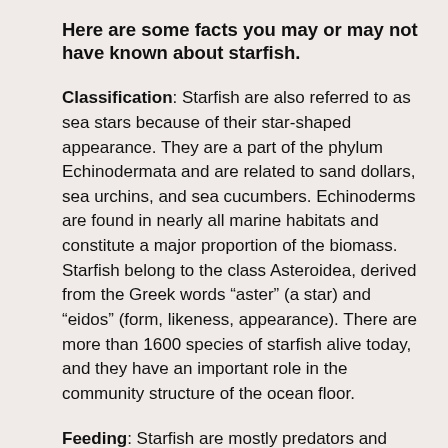Here are some facts you may or may not have known about starfish.
Classification: Starfish are also referred to as sea stars because of their star-shaped appearance. They are a part of the phylum Echinodermata and are related to sand dollars, sea urchins, and sea cucumbers. Echinoderms are found in nearly all marine habitats and constitute a major proportion of the biomass. Starfish belong to the class Asteroidea, derived from the Greek words “aster” (a star) and “eidos” (form, likeness, appearance). There are more than 1600 species of starfish alive today, and they have an important role in the community structure of the ocean floor.
Feeding: Starfish are mostly predators and feed on invertebrates such as mussels and clams that live on the ocean floor. Several species have specialized